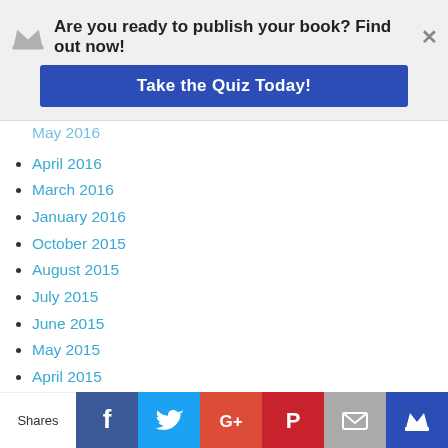Are you ready to publish your book? Find out now! Take the Quiz Today!
May 2016 (partial)
April 2016
March 2016
January 2016
October 2015
August 2015
July 2015
June 2015
May 2015
April 2015
March 2015
February 2015
January 2015
November 2014
October 2014
August 2014
June 2014
Shares | Facebook | Twitter | Google+ | Pinterest | Email | Crown